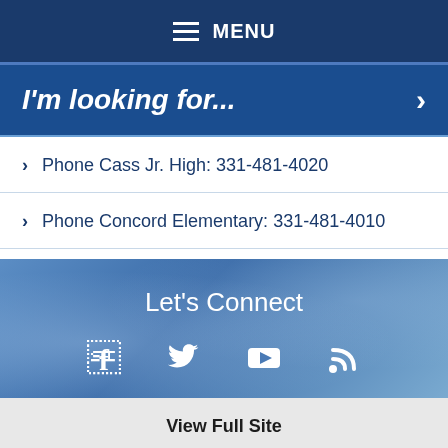MENU
I'm looking for...
Phone Cass Jr. High: 331-481-4020
Phone Concord Elementary: 331-481-4010
Let's Connect
[Figure (infographic): Social media icons: Facebook, Twitter, YouTube, RSS feed]
View Full Site